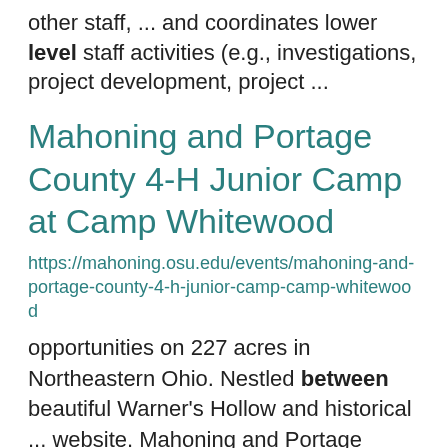other staff, ... and coordinates lower level staff activities (e.g., investigations, project development, project ...
Mahoning and Portage County 4-H Junior Camp at Camp Whitewood
https://mahoning.osu.edu/events/mahoning-and-portage-county-4-h-junior-camp-camp-whitewood
opportunities on 227 acres in Northeastern Ohio. Nestled between beautiful Warner's Hollow and historical ... website. Mahoning and Portage County 4-H Junior Camp If you are between the ages of 8 and 14 you should ...